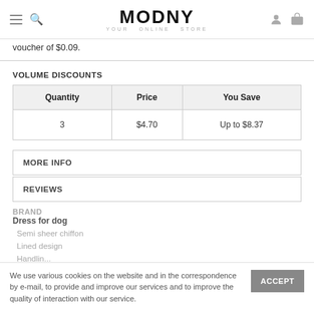MODNY YOUR ONLINE STORE
voucher of $0.09.
VOLUME DISCOUNTS
| Quantity | Price | You Save |
| --- | --- | --- |
| 3 | $4.70 | Up to $8.37 |
MORE INFO
REVIEWS
BRAND
Dress for dog
Semi sheer chiffon
Lined design
Handlin...
We use various cookies on the website and in the correspondence by e-mail, to provide and improve our services and to improve the quality of interaction with our service.